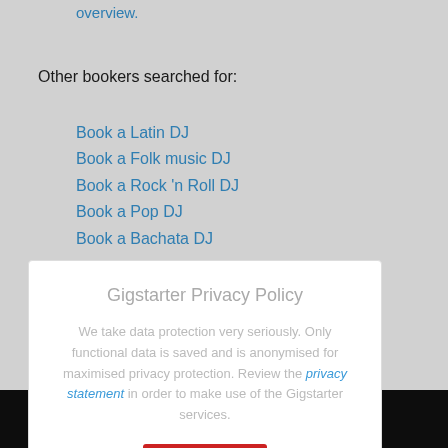overview.
Other bookers searched for:
Book a Latin DJ
Book a Folk music DJ
Book a Rock 'n Roll DJ
Book a Pop DJ
Book a Bachata DJ
Book a Hard Rock DJ
Book a Progressive metal DJ
Gigstarter Privacy Policy
We take data protection very seriously. Only functional data is saved and is anonymised for maximised privacy protection. Review the privacy statement in order to make use of the Gigstarter services.
OK